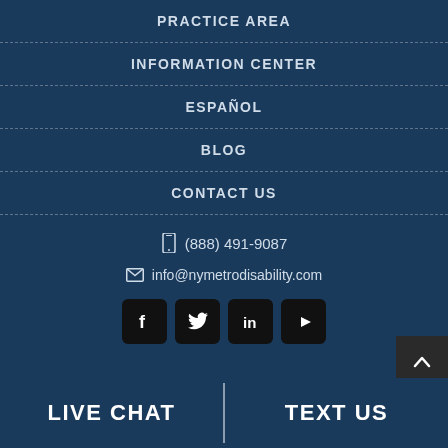PRACTICE AREA
INFORMATION CENTER
ESPAÑOL
BLOG
CONTACT US
(888) 491-9087
info@nymetrodisability.com
[Figure (other): Social media icons: Facebook, Twitter, LinkedIn, YouTube]
LIVE CHAT
TEXT US